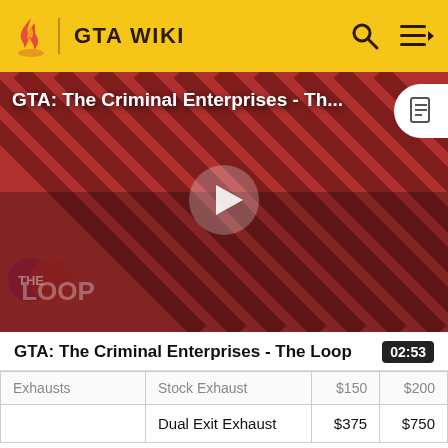GTA WIKI
[Figure (screenshot): Video thumbnail for 'GTA: The Criminal Enterprises - The Loop' showing game characters on a red diagonal stripe background with a play button in the center and The Loop logo in the lower left.]
GTA: The Criminal Enterprises - The Loop
|  | Stock Exhaust | $150 | $200 |
| --- | --- | --- | --- |
| Exhausts | Dual Exit Exhaust | $375 | $750 |